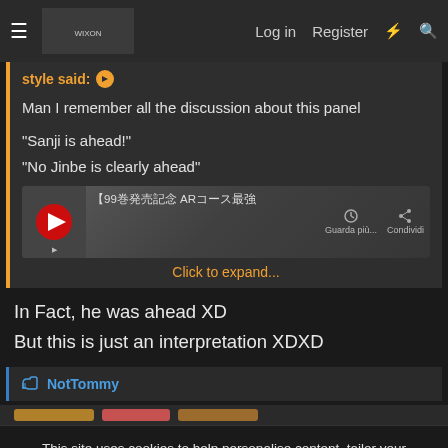≡  [banner image]  Log in  Register  ⚡  🔍
style said: ↗
Man I remember all the discussion about this panel
"Sanji is ahead!"
"No Jinbe is clearly ahead"
[Figure (screenshot): Embedded media/video thumbnail with Japanese text 【99巻発売記念 AR…最強】 and video player controls (clock icon, share icon), with labels 'Guarda più...' and 'Condividi']
Click to expand...
In Fact, he was ahead XD
But this is just an interpretation XDXD
👍 NotTommy
This site uses cookies to help personalise content, tailor your experience and to keep you logged in if you register.
By continuing to use this site, you are consenting to our use of cookies.
✓ Accept    Learn more...